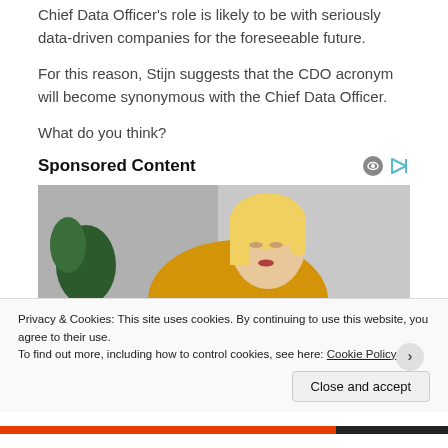Chief Data Officer's role is likely to be with seriously data-driven companies for the foreseeable future.
For this reason, Stijn suggests that the CDO acronym will become synonymous with the Chief Data Officer.
What do you think?
Sponsored Content
[Figure (photo): A blonde woman in a yellow sweater looking down, with green plants and a grey background behind her.]
Privacy & Cookies: This site uses cookies. By continuing to use this website, you agree to their use. To find out more, including how to control cookies, see here: Cookie Policy
Close and accept